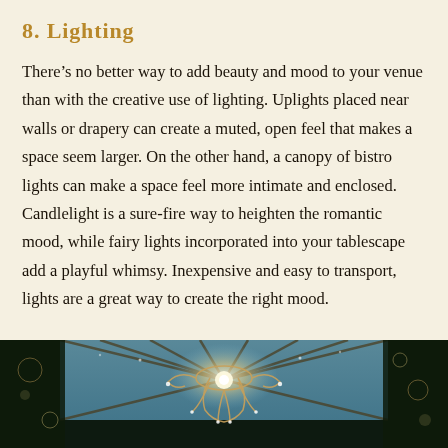8. Lighting
There’s no better way to add beauty and mood to your venue than with the creative use of lighting. Uplights placed near walls or drapery can create a muted, open feel that makes a space seem larger. On the other hand, a canopy of bistro lights can make a space feel more intimate and enclosed. Candlelight is a sure-fire way to heighten the romantic mood, while fairy lights incorporated into your tablescape add a playful whimsy. Inexpensive and easy to transport, lights are a great way to create the right mood.
[Figure (photo): A decorative chandelier with glowing lights against a dark background with branches and bokeh lights visible.]